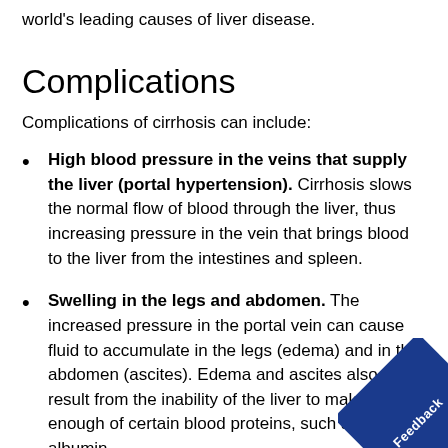world's leading causes of liver disease.
Complications
Complications of cirrhosis can include:
High blood pressure in the veins that supply the liver (portal hypertension). Cirrhosis slows the normal flow of blood through the liver, thus increasing pressure in the vein that brings blood to the liver from the intestines and spleen.
Swelling in the legs and abdomen. The increased pressure in the portal vein can cause fluid to accumulate in the legs (edema) and in the abdomen (ascites). Edema and ascites also may result from the inability of the liver to make enough of certain blood proteins, such as albumin.
Enlargement of the spleen (splenomegaly). Portal hypertension can also cause changes to and s